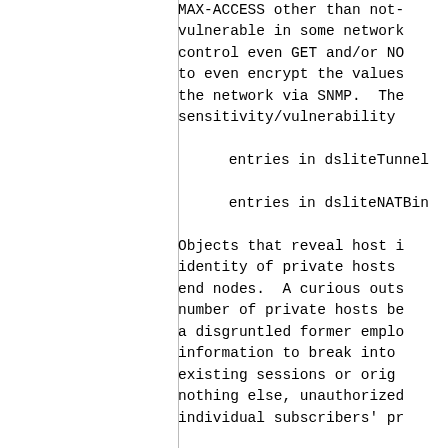MAX-ACCESS other than not-accessible are vulnerable in some networks. Implementations should control even GET and/or NOTIFY access, and to even encrypt the values of sensitive data when transmitted across the network via SNMP. The sensitivity/vulnerability
entries in dsliteTunnel...
entries in dsliteNATBin...
Objects that reveal host identity of private hosts end nodes. A curious outsider can learn the number of private hosts behind a CGN, or a disgruntled former employee can use this information to break into or disrupt existing sessions or originating nothing else, unauthorized access to individual subscribers' pr...